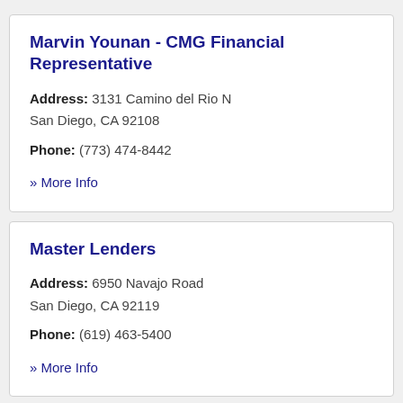Marvin Younan - CMG Financial Representative
Address: 3131 Camino del Rio N San Diego, CA 92108
Phone: (773) 474-8442
» More Info
Master Lenders
Address: 6950 Navajo Road San Diego, CA 92119
Phone: (619) 463-5400
» More Info